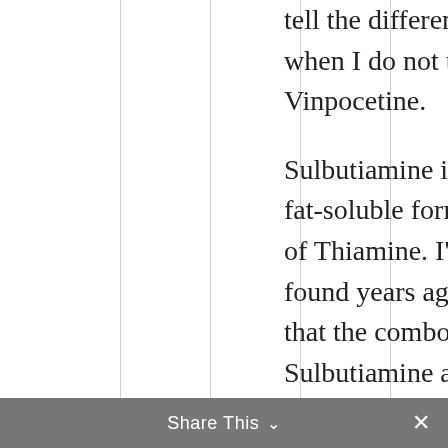tell the difference when I do not use Vinpocetine.

Sulbutiamine is a fat-soluble form of Thiamine. I've found years ago that the combo of Sulbutiamine and Aniracetam made a great
Share This ∨  ✕